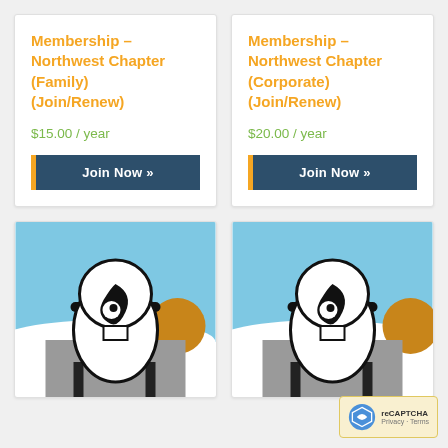Membership – Northwest Chapter (Family) (Join/Renew)
$15.00 / year
Join Now »
Membership – Northwest Chapter (Corporate) (Join/Renew)
$20.00 / year
Join Now »
[Figure (illustration): Illustrated figure of a person sitting in a chair viewed from behind, with an orange sun/moon shape to the right, against a light blue sky background]
[Figure (illustration): Illustrated figure of a person sitting in a chair viewed from behind, with an orange sun/moon shape to the right, against a light blue sky background]